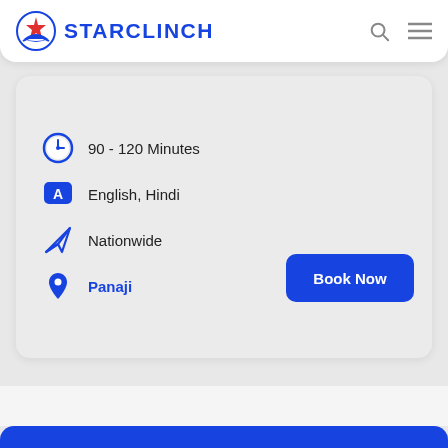STARCLINCH
[Figure (screenshot): Gray card panel area (image content area, appears blank/gray)]
90 - 120 Minutes
English, Hindi
Nationwide
Panaji
Book Now